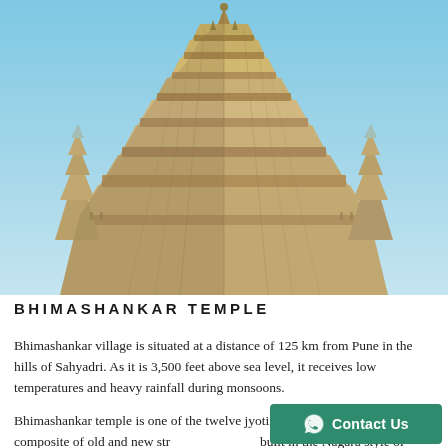[Figure (photo): Upward-angle photograph of the Bhimashankar temple tower (shikhara) set against a clear blue sky. The ornate stone spire shows layered Nagara-style architecture with intricate carvings and sculptural ornamentation.]
BHIMASHANKAR TEMPLE
Bhimashankar village is situated at a distance of 125 km from Pune in the hills of Sahyadri. As it is 3,500 feet above sea level, it receives low temperatures and heavy rainfall during monsoons.
Bhimashankar temple is one of the twelve jyotirlingas in India. It is a composite of old and new structures and was built in the Nagara style of architecture. It is a modest but